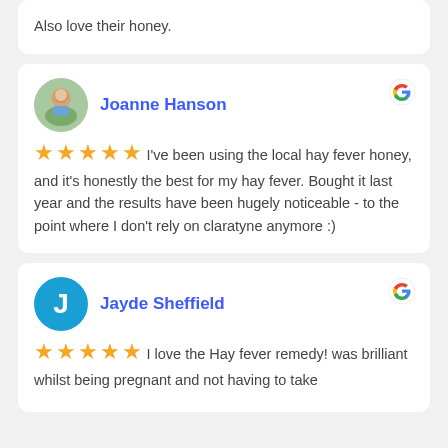Also love their honey.
Joanne Hanson
★★★★★ I've been using the local hay fever honey, and it's honestly the best for my hay fever. Bought it last year and the results have been hugely noticeable - to the point where I don't rely on claratyne anymore :)
Jayde Sheffield
★★★★★ I love the Hay fever remedy! was brilliant whilst being pregnant and not having to take